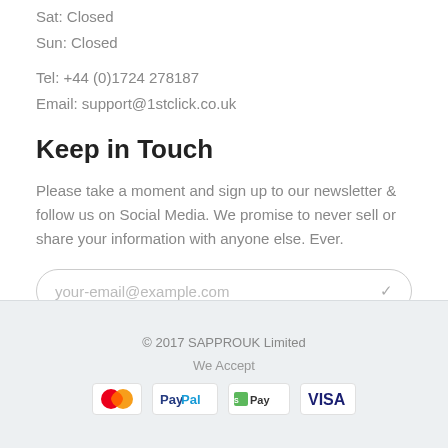Sat: Closed
Sun: Closed
Tel: +44 (0)1724 278187
Email: support@1stclick.co.uk
Keep in Touch
Please take a moment and sign up to our newsletter & follow us on Social Media. We promise to never sell or share your information with anyone else. Ever.
your-email@example.com
© 2017 SAPPROUK Limited
We Accept